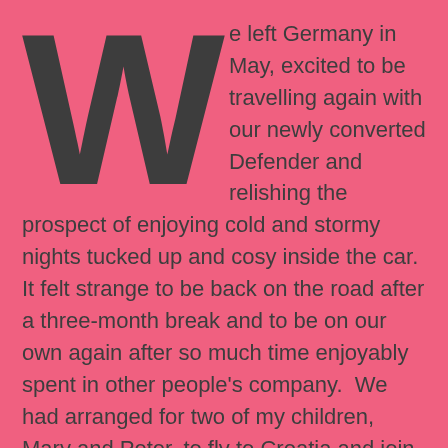We left Germany in May, excited to be travelling again with our newly converted Defender and relishing the prospect of enjoying cold and stormy nights tucked up and cosy inside the car.  It felt strange to be back on the road after a three-month break and to be on our own again after so much time enjoyably spent in other people's company.  We had arranged for two of my children, Mary and Peter, to fly to Croatia and join us for a few days in June.  With that appointment in mind we travelled at leisure southward through Austria and Italy, by ferry to Sardinia and back, and finally across the Aegean Sea from Ancona on Italy's east